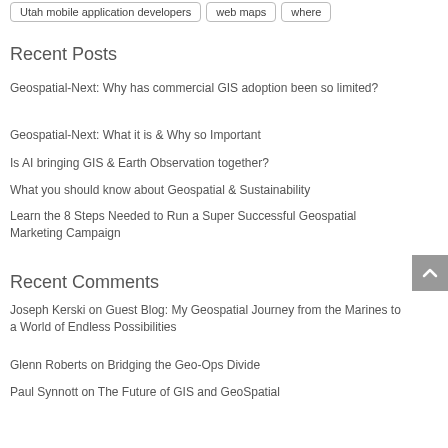Utah mobile application developers
web maps
where
Recent Posts
Geospatial-Next: Why has commercial GIS adoption been so limited?
Geospatial-Next: What it is & Why so Important
Is AI bringing GIS & Earth Observation together?
What you should know about Geospatial & Sustainability
Learn the 8 Steps Needed to Run a Super Successful Geospatial Marketing Campaign
Recent Comments
Joseph Kerski on Guest Blog: My Geospatial Journey from the Marines to a World of Endless Possibilities
Glenn Roberts on Bridging the Geo-Ops Divide
Paul Synnott on The Future of GIS and GeoSpatial